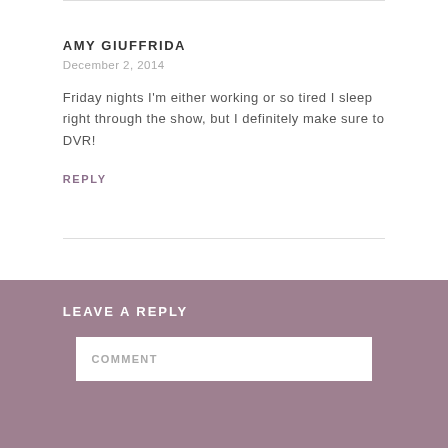AMY GIUFFRIDA
December 2, 2014
Friday nights I'm either working or so tired I sleep right through the show, but I definitely make sure to DVR!
REPLY
LEAVE A REPLY
COMMENT